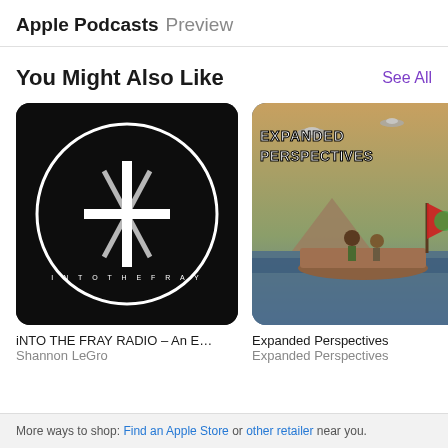Apple Podcasts Preview
You Might Also Like
See All
[Figure (photo): Podcast artwork for iNTO THE FRAY RADIO - black background with white cross/plus symbol and circular text reading INTO THE FRAY]
iNTO THE FRAY RADIO – An E…
Shannon LeGro
[Figure (photo): Podcast artwork for Expanded Perspectives - illustrated scene with figures on a boat, pyramids, UFOs, and large text EXPANDED PERSPECTIVES]
Expanded Perspectives
Expanded Perspectives
[Figure (photo): Partially visible podcast artwork - third podcast, cropped]
Sas…
Sa…
More ways to shop: Find an Apple Store or other retailer near you.